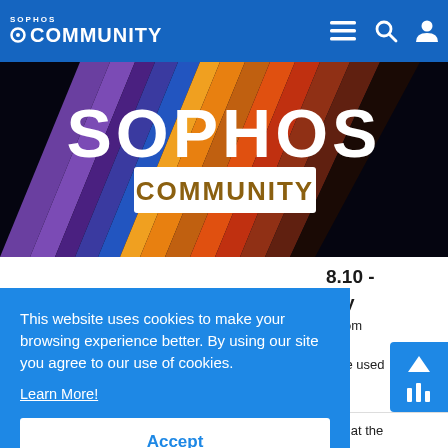SOPHOS COMMUNITY
[Figure (illustration): Sophos Community banner with colorful diagonal stripes and SOPHOS COMMUNITY text on dark background]
8.10 - ary
from 0 ice used
This website uses cookies to make your browsing experience better. By using our site you agree to our use of cookies. Learn More! Accept
to use Python, instead of Node.js. The version of Python that the